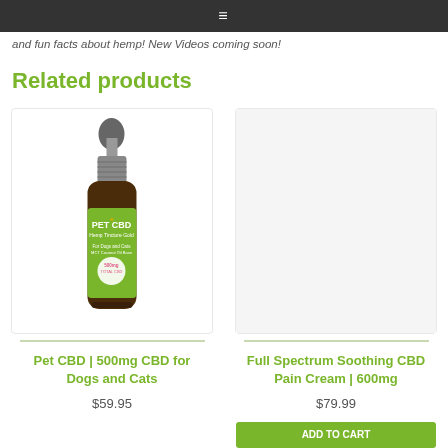≡ (navigation icon)
and fun facts about hemp! New Videos coming soon!
Related products
[Figure (photo): Brown glass dropper bottle of Pet CBD 500mg hemp tincture for dogs and cats, with green label showing PET CBD branding]
Pet CBD | 500mg CBD for Dogs and Cats
$59.95
[Figure (photo): Partial view of Full Spectrum Soothing CBD Pain Cream 600mg product — image mostly cropped/off-screen]
Full Spectrum Soothing CBD Pain Cream | 600mg
$79.99